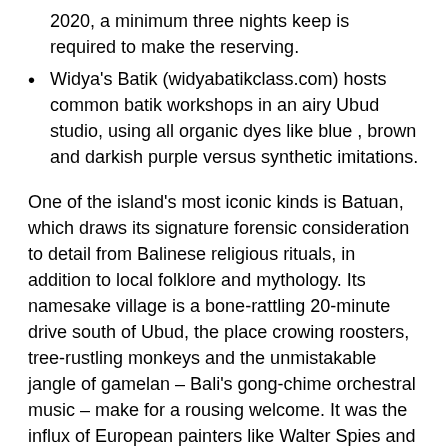For visitors this plan is check in on 20 & 21 December 2020, a minimum three nights keep is required to make the reserving.
Widya's Batik (widyabatikclass.com) hosts common batik workshops in an airy Ubud studio, using all organic dyes like blue , brown and darkish purple versus synthetic imitations.
One of the island's most iconic kinds is Batuan, which draws its signature forensic consideration to detail from Balinese religious rituals, in addition to local folklore and mythology. Its namesake village is a bone-rattling 20-minute drive south of Ubud, the place crowing roosters, tree-rustling monkeys and the unmistakable jangle of gamelan – Bali's gong-chime orchestral music – make for a rousing welcome. It was the influx of European painters like Walter Spies and Rudolf Bonnet that transformed Ubud into an artist enclave within the 1930s. With the help of ready-made brushes and fine-woven canvases, they invented 'modern traditional Balinese painting', which